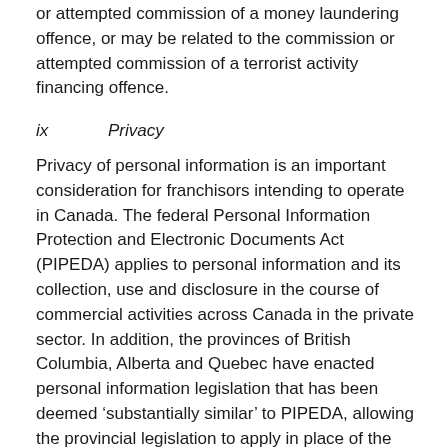or attempted commission of a money laundering offence, or may be related to the commission or attempted commission of a terrorist activity financing offence.
ix        Privacy
Privacy of personal information is an important consideration for franchisors intending to operate in Canada. The federal Personal Information Protection and Electronic Documents Act (PIPEDA) applies to personal information and its collection, use and disclosure in the course of commercial activities across Canada in the private sector. In addition, the provinces of British Columbia, Alberta and Quebec have enacted personal information legislation that has been deemed ‘substantially similar’ to PIPEDA, allowing the provincial legislation to apply in place of the federal legislation.